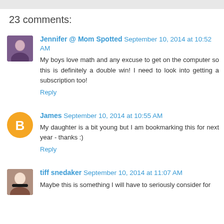23 comments:
Jennifer @ Mom Spotted September 10, 2014 at 10:52 AM
My boys love math and any excuse to get on the computer so this is definitely a double win! I need to look into getting a subscription too!
Reply
James September 10, 2014 at 10:55 AM
My daughter is a bit young but I am bookmarking this for next year - thanks :)
Reply
tiff snedaker September 10, 2014 at 11:07 AM
Maybe this is something I will have to seriously consider for